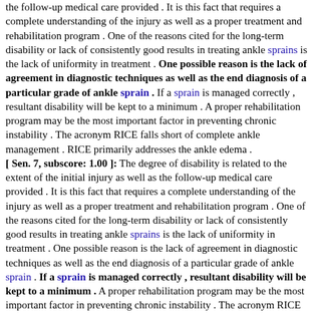the follow-up medical care provided . It is this fact that requires a complete understanding of the injury as well as a proper treatment and rehabilitation program . One of the reasons cited for the long-term disability or lack of consistently good results in treating ankle sprains is the lack of uniformity in treatment . One possible reason is the lack of agreement in diagnostic techniques as well as the end diagnosis of a particular grade of ankle sprain . If a sprain is managed correctly , resultant disability will be kept to a minimum . A proper rehabilitation program may be the most important factor in preventing chronic instability . The acronym RICE falls short of complete ankle management . RICE primarily addresses the ankle edema . [ Sen. 7, subscore: 1.00 ]: The degree of disability is related to the extent of the initial injury as well as the follow-up medical care provided . It is this fact that requires a complete understanding of the injury as well as a proper treatment and rehabilitation program . One of the reasons cited for the long-term disability or lack of consistently good results in treating ankle sprains is the lack of uniformity in treatment . One possible reason is the lack of agreement in diagnostic techniques as well as the end diagnosis of a particular grade of ankle sprain . If a sprain is managed correctly , resultant disability will be kept to a minimum . A proper rehabilitation program may be the most important factor in preventing chronic instability . The acronym RICE falls short of complete ankle management . RICE primarily addresses the ankle edema . Thus , the patients ankle is only partially rehabilitated . [ Sen. 12, subscore: 1.00 ]: A proper rehabilitation program may be the most important factor in preventing chronic instability . The acronym RICE falls short of complete ankle management . RICE primarily addresses the ankle edema . Thus , the patients ankle is only partially rehabilitated . A rational approach to the management of ankle sprains is given . Upon reviewing a complete protocol for ankle sprain